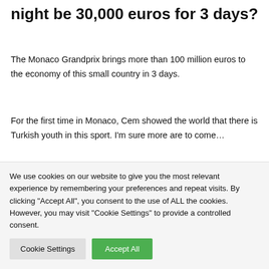night be 30,000 euros for 3 days?
The Monaco Grandprix brings more than 100 million euros to the economy of this small country in 3 days.
For the first time in Monaco, Cem showed the world that there is Turkish youth in this sport. I'm sure more are to come…
This is why I wrote this article with great enthusiasm and pride. As a journalist, I am happy that you have learned by the announcement of this success in Turkey.
We use cookies on our website to give you the most relevant experience by remembering your preferences and repeat visits. By clicking "Accept All", you consent to the use of ALL the cookies. However, you may visit "Cookie Settings" to provide a controlled consent.